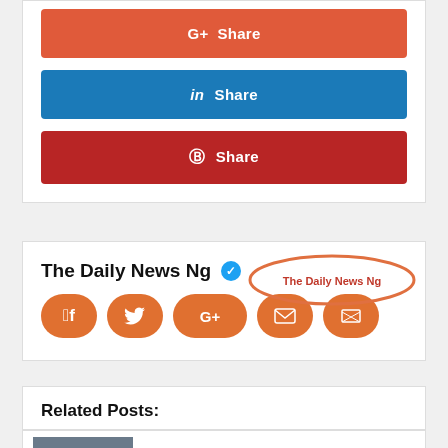[Figure (screenshot): Google Plus Share button (orange-red)]
[Figure (screenshot): LinkedIn Share button (blue)]
[Figure (screenshot): Pinterest Share button (dark red)]
The Daily News Ng (verified) with social media icon buttons: Facebook, Twitter, G+, Email, Website
Related Posts:
Meet Nigerian Lawmaker who Beats His